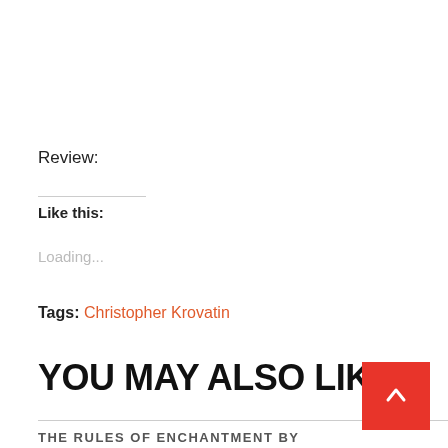Review:
Like this:
Loading...
Tags: Christopher Krovatin
YOU MAY ALSO LIKE
THE RULES OF ENCHANTMENT BY